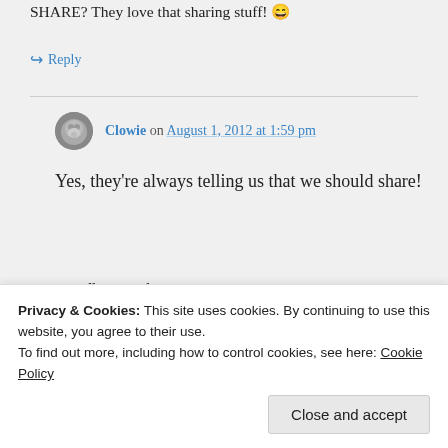SHARE? They love that sharing stuff! 😄
↪ Reply
Clowie on August 1, 2012 at 1:59 pm
Yes, they're always telling us that we should share!
hayitsjothere on August 4, 2012 at 6:10
us tidbits as she prepares... or in
Privacy & Cookies: This site uses cookies. By continuing to use this website, you agree to their use.
To find out more, including how to control cookies, see here: Cookie Policy
Close and accept